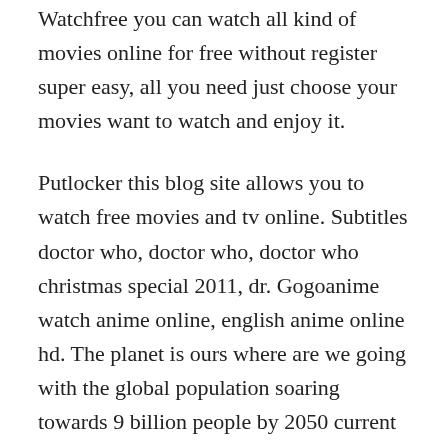Watchfree you can watch all kind of movies online for free without register super easy, all you need just choose your movies want to watch and enjoy it.
Putlocker this blog site allows you to watch free movies and tv online. Subtitles doctor who, doctor who, doctor who christmas special 2011, dr. Gogoanime watch anime online, english anime online hd. The planet is ours where are we going with the global population soaring towards 9 billion people by 2050 current levels of meat and dairy consumption are not sustainable on our